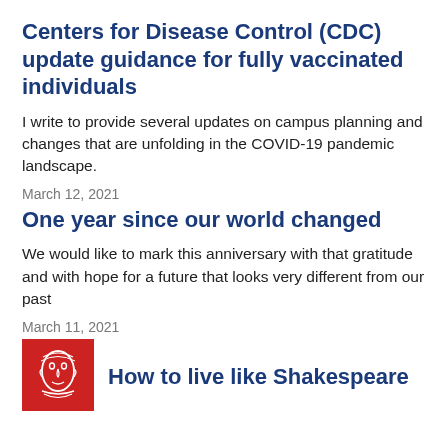Centers for Disease Control (CDC) update guidance for fully vaccinated individuals
I write to provide several updates on campus planning and changes that are unfolding in the COVID-19 pandemic landscape.
March 12, 2021
One year since our world changed
We would like to mark this anniversary with that gratitude and with hope for a future that looks very different from our past
March 11, 2021
[Figure (illustration): Red square illustration with a white line-art face/figure on it, resembling a Shakespeare-era portrait]
How to live like Shakespeare